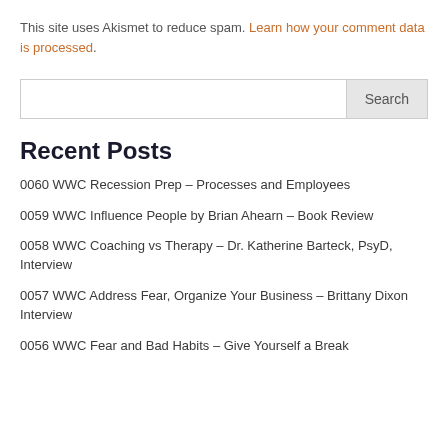This site uses Akismet to reduce spam. Learn how your comment data is processed.
Search
Recent Posts
0060 WWC Recession Prep – Processes and Employees
0059 WWC Influence People by Brian Ahearn – Book Review
0058 WWC Coaching vs Therapy – Dr. Katherine Barteck, PsyD, Interview
0057 WWC Address Fear, Organize Your Business – Brittany Dixon Interview
0056 WWC Fear and Bad Habits – Give Yourself a Break